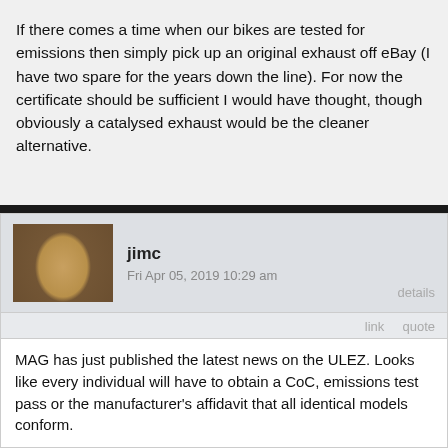If there comes a time when our bikes are tested for emissions then simply pick up an original exhaust off eBay (I have two spare for the years down the line). For now the certificate should be sufficient I would have thought, though obviously a catalysed exhaust would be the cleaner alternative.
jimc
Fri Apr 05, 2019 10:29 am
details
link   quote
MAG has just published the latest news on the ULEZ. Looks like every individual will have to obtain a CoC, emissions test pass or the manufacturer's affidavit that all identical models conform.
https://wiki.mag-uk.org/images/f/f8/Network_-_Campaigns_April_2019.pdf
Sadly, MAG didn't have the funds to take TFL's response to Judicial Review. More members required!